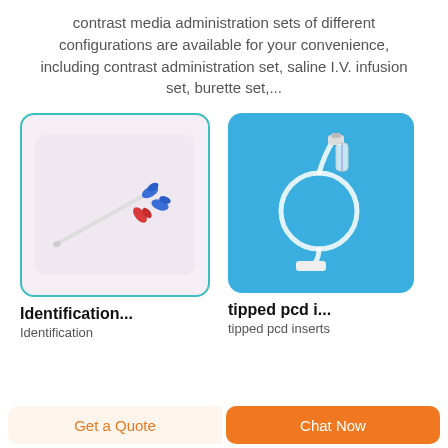contrast media administration sets of different configurations are available for your convenience, including contrast administration set, saline I.V. infusion set, burette set,...
[Figure (photo): Medical identification accessories on light pink/purple background — a thin white catheter tube with blue and red connector caps]
Identification...
Identification
[Figure (photo): Tipped PCD inserts — clear tubing coiled in a loop with connectors on a blue background]
tipped pcd i...
tipped pcd inserts
Get a Quote
Chat Now